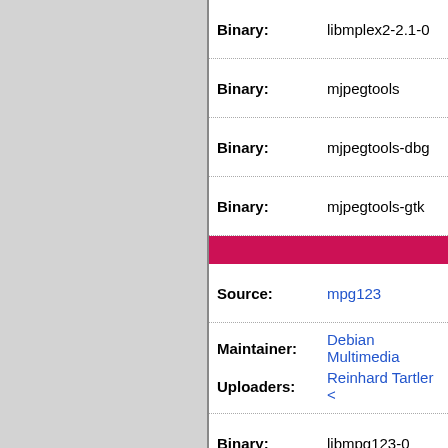| Field | Value |
| --- | --- |
| Binary: | libmplex2-2.1-0 |
| Binary: | mjpegtools |
| Binary: | mjpegtools-dbg |
| Binary: | mjpegtools-gtk |
| Source: | mpg123 |
| Maintainer: | Debian Multimedia |
| Uploaders: | Reinhard Tartler < |
| Binary: | libmpg123-0 |
| Binary: | libmpg123-dev |
| Binary: | mpg123 |